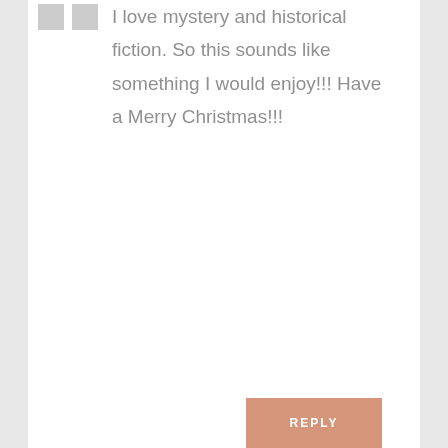I love mystery and historical fiction. So this sounds like something I would enjoy!!! Have a Merry Christmas!!!
REPLY
[Figure (photo): Profile photo of Savanna, a young woman with long brown hair wearing a teal shirt, smiling, with green foliage in background]
Savanna on December 2, 2015 at 11:27 am
I'm sure you would, Lisa! 😊 Thanks for